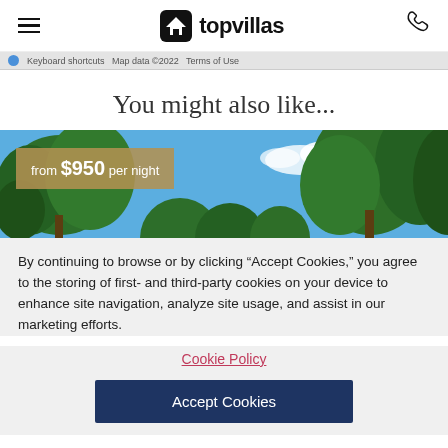topvillas
Keyboard shortcuts  Map data ©2022  Terms of Use
You might also like...
[Figure (photo): Outdoor photo of tropical trees with blue sky, with a price badge overlay reading 'from $950 per night']
By continuing to browse or by clicking "Accept Cookies," you agree to the storing of first- and third-party cookies on your device to enhance site navigation, analyze site usage, and assist in our marketing efforts.
Cookie Policy
Accept Cookies